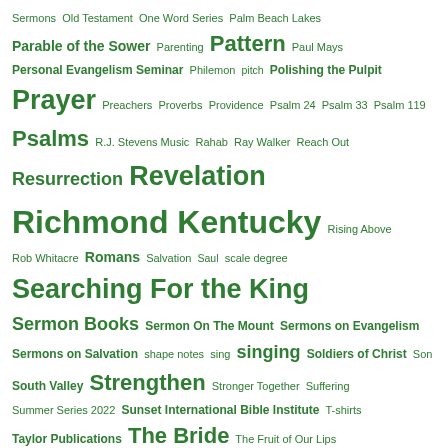Sermons Old Testament One Word Series Palm Beach Lakes Parable of the Sower Parenting Pattern Paul Mays Personal Evangelism Seminar Philemon pitch Polishing the Pulpit Prayer Preachers Proverbs Providence Psalm 24 Psalm 33 Psalm 119 Psalms R.J. Stevens Music Rahab Ray Walker Reach Out Resurrection Revelation Richmond Kentucky Rising Above Rob Whitacre Romans Salvation Saul scale degree Searching For the King Sermon Books Sermon On The Mount Sermons on Evangelism Sermons on Salvation shape notes sing singing Soldiers of Christ Son South Valley Strengthen Stronger Together Suffering Summer Series 2022 Sunset International Bible Institute T-shirts Taylor Publications The Bride The Fruit of Our Lips The Gospel of Compassion The Rebel Prophet tonic Twitter VBS 2022 Vimeo Walnut Grove West Huntsville What Does God Want Me To Be? What Do We See? Winnetka Avenue Women WordPress World Bet Books Worry worship YouTube